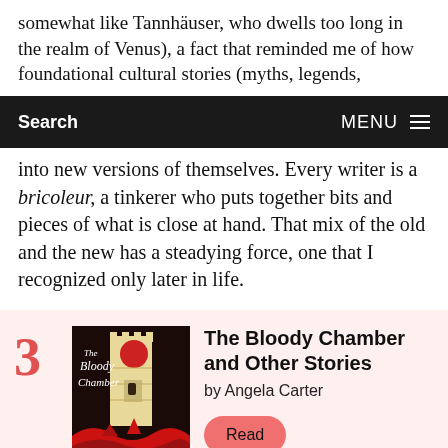somewhat like Tannhäuser, who dwells too long in the realm of Venus), a fact that reminded me of how foundational cultural stories (myths, legends,
Search   MENU
into new versions of themselves. Every writer is a bricoleur, a tinkerer who puts together bits and pieces of what is close at hand. That mix of the old and the new has a steadying force, one that I recognized only later in life.
3  The Bloody Chamber and Other Stories by Angela Carter  Read